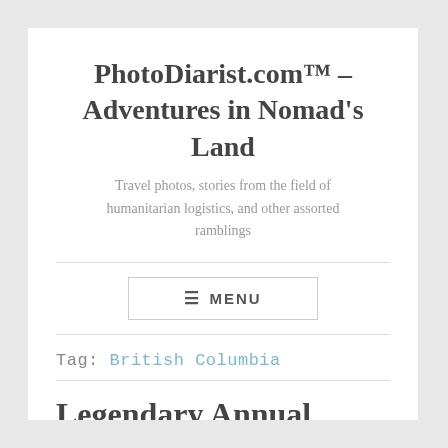PhotoDiarist.com™ – Adventures in Nomad's Land
Travel photos, stories from the field of humanitarian logistics, and other assorted ramblings
≡ MENU
Tag: British Columbia
Legendary Annual Summer